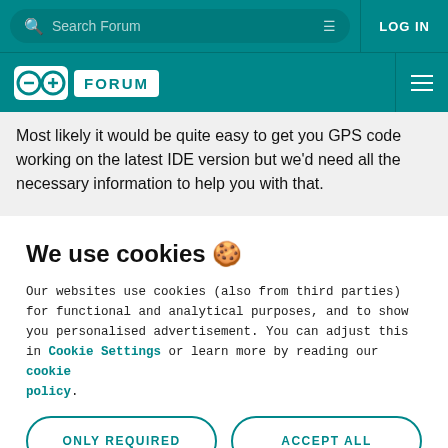Search Forum | LOG IN
[Figure (logo): Arduino Forum logo with infinity symbol and FORUM text]
Most likely it would be quite easy to get you GPS code working on the latest IDE version but we'd need all the necessary information to help you with that.
We use cookies 🍪
Our websites use cookies (also from third parties) for functional and analytical purposes, and to show you personalised advertisement. You can adjust this in Cookie Settings or learn more by reading our cookie policy.
ONLY REQUIRED | ACCEPT ALL